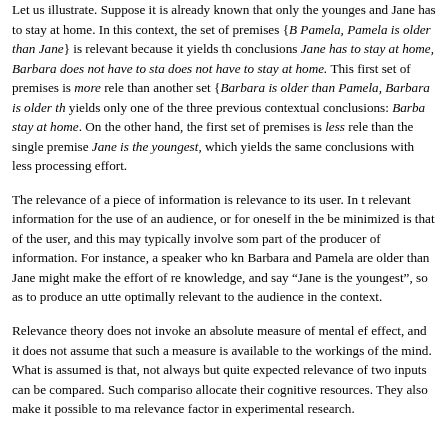Let us illustrate. Suppose it is already known that only the youngest and Jane has to stay at home. In this context, the set of premises {B Pamela, Pamela is older than Jane} is relevant because it yields the conclusions Jane has to stay at home, Barbara does not have to sta does not have to stay at home. This first set of premises is more rele than another set {Barbara is older than Pamela, Barbara is older th yields only one of the three previous contextual conclusions: Barba stay at home. On the other hand, the first set of premises is less rele than the single premise Jane is the youngest, which yields the same conclusions with less processing effort.
The relevance of a piece of information is relevance to its user. In t relevant information for the use of an audience, or for oneself in the be minimized is that of the user, and this may typically involve som part of the producer of information. For instance, a speaker who kn Barbara and Pamela are older than Jane might make the effort of re knowledge, and say “Jane is the youngest”, so as to produce an utte optimally relevant to the audience in the context.
Relevance theory does not invoke an absolute measure of mental ef effect, and it does not assume that such a measure is available to the workings of the mind. What is assumed is that, not always but quite expected relevance of two inputs can be compared. Such compariso allocate their cognitive resources. They also make it possible to ma relevance factor in experimental research.